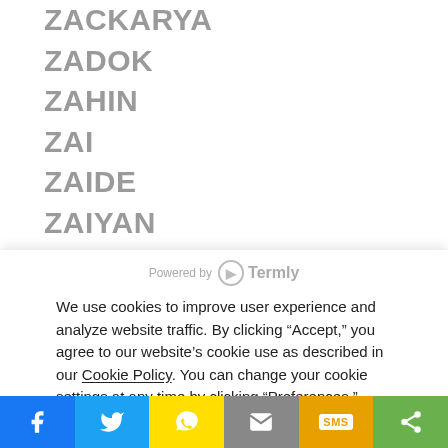ZACKARYA
ZADOK
ZAHIN
ZAI
ZAIDE
ZAIYAN
ZAKAR
ZAKAREEYA
ZAKERIYA
ZAKHI (partial)
Powered by Termly
We use cookies to improve user experience and analyze website traffic. By clicking “Accept,” you agree to our website’s cookie use as described in our Cookie Policy. You can change your cookie settings at any time by clicking “Preferences.”
Decline
Accept
Preferences